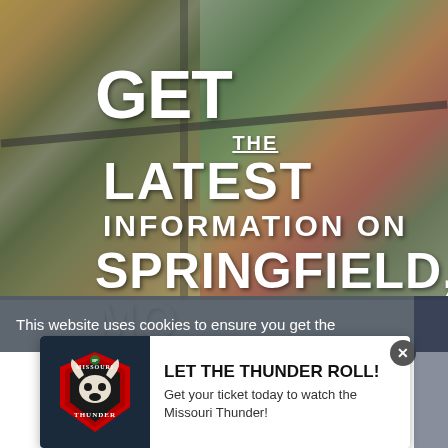[Figure (photo): Aerial photograph of Springfield, MO showing commercial area with parking lots, roads, green spaces and buildings taken from above with autumn foliage visible]
GET THE LATEST INFORMATION ON SPRINGFIELD, MO
This website uses cookies to ensure you get the
[Figure (logo): Missouri Thunder logo - Bass Pro Shops sponsored team logo featuring a bull skull in a red and black shield with 'MISSOURI THUNDER' text]
LET THE THUNDER ROLL!
Get your ticket today to watch the Missouri Thunder!